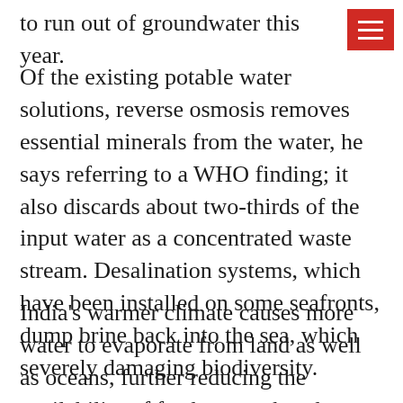to run out of groundwater this year.
[Figure (other): Red hamburger menu icon with three white horizontal lines on red background]
Of the existing potable water solutions, reverse osmosis removes essential minerals from the water, he says referring to a WHO finding; it also discards about two-thirds of the input water as a concentrated waste stream. Desalination systems, which have been installed on some seafronts, dump brine back into the sea, which severely damaging biodiversity.
India’s warmer climate causes more water to evaporate from land as well as oceans, further reducing the availability of fresh water; but the ray of hope is that this puts more water in the